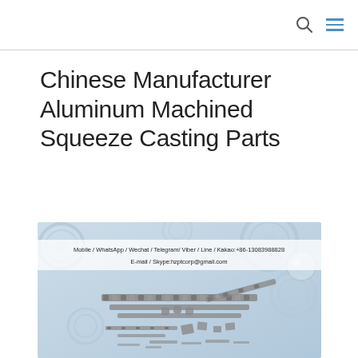Chinese Manufacturer Aluminum Machined Squeeze Casting Parts
[Figure (photo): Product promotional image showing metal chain and mechanical parts on a blue gear background with contact information overlay: Mobile / WhatsApp / Wechat / Telegram/ Viber / Line / Kakao:+86-13083988828, E-mail / Skype:hzptcorp@gmail.com]